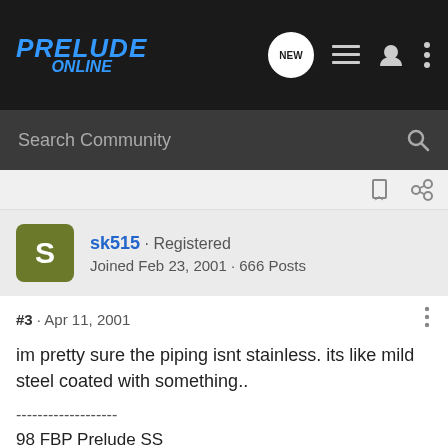PRELUDE ONLINE
Search Community
sk515 · Registered
Joined Feb 23, 2001 · 666 Posts
#3 · Apr 11, 2001
im pretty sure the piping isnt stainless. its like mild steel coated with something..
-------------------
98 FBP Prelude SS
AEM Intake
Eibach Pro-kit
Koni Yellows